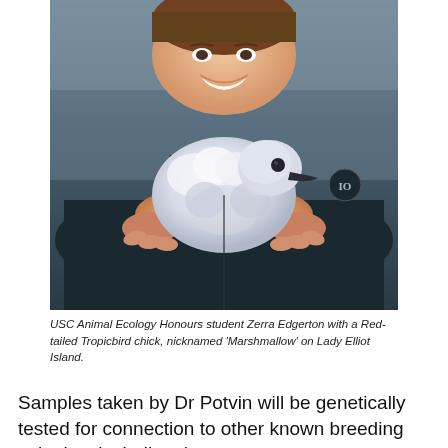[Figure (photo): A smiling person in a dark blue jacket holding a small fluffy white seabird chick (Red-tailed Tropicbird chick nicknamed 'Marshmallow') in both hands. The chick is white and fluffy with a dark beak.]
USC Animal Ecology Honours student Zerra Edgerton with a Red-tailed Tropicbird chick, nicknamed 'Marshmallow' on Lady Elliot Island.
Samples taken by Dr Potvin will be genetically tested for connection to other known breeding colonies, including the